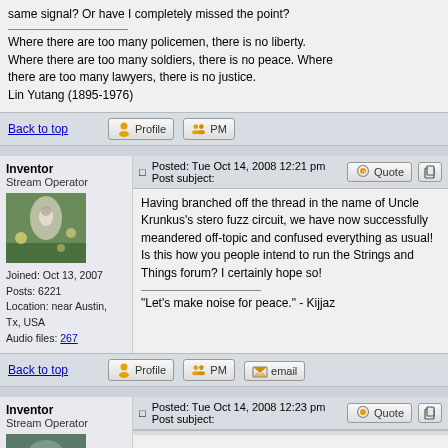same signal? Or have I completely missed the point?
Where there are too many policemen, there is no liberty. Where there are too many soldiers, there is no peace. Where there are too many lawyers, there is no justice. Lin Yutang (1895-1976)
Back to top
Inventor
Stream Operator
Joined: Oct 13, 2007
Posts: 6221
Location: near Austin, Tx, USA
Audio files: 267
Posted: Tue Oct 14, 2008 12:21 pm   Post subject:
Having branched off the thread in the name of Uncle Krunkus's stero fuzz circuit, we have now successfully meandered off-topic and confused everything as usual! Is this how you people intend to run the Strings and Things forum? I certainly hope so!
"Let's make noise for peace." - Kijjaz
Back to top
Inventor
Stream Operator
Posted: Tue Oct 14, 2008 12:23 pm   Post subject: